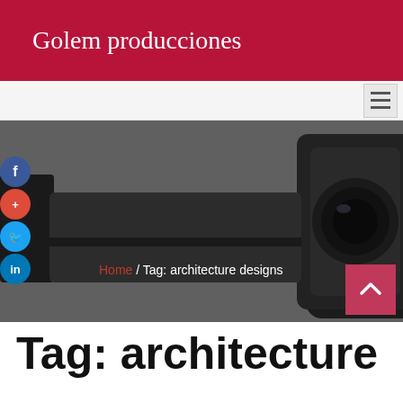Golem producciones
[Figure (screenshot): Navigation bar with hamburger menu icon on the right]
[Figure (photo): Hero banner showing a close-up of a professional video camera lens on a dark gray background, with social media icons (Facebook, Google+, Twitter, LinkedIn) on the left side, a breadcrumb navigation reading 'Home / Tag: architecture designs' in the center, and a crimson scroll-to-top arrow button at the bottom right]
Tag: architecture